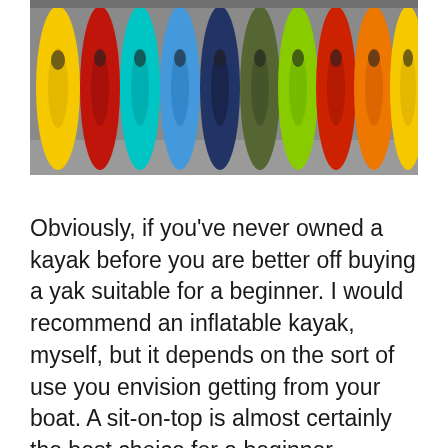[Figure (photo): Aerial/top-down view of multiple colorful kayaks lined up side by side on what appears to be a concrete surface. Kayaks are various colors including yellow, red, teal, blue, dark blue, green, red, orange, and yellow.]
Obviously, if you've never owned a kayak before you are better off buying a yak suitable for a beginner. I would recommend an inflatable kayak, myself, but it depends on the sort of use you envision getting from your boat. A sit-on-top is almost certainly the best choice for a beginner because it's much easier to get out if you get into trouble, such as capsizing – although it's not at all impossible to get out of a sit-in, if it's your